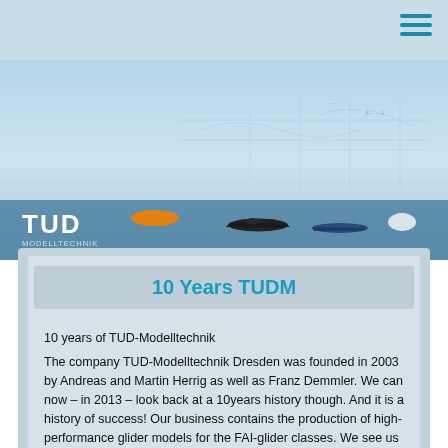TUD Modelltechnik website header with hamburger menu
[Figure (photo): Hero banner showing light blue sky background with glider model silhouettes and blueprint-style engineering drawings overlay, with TUD Modelltechnik logo strip across the lower portion]
10 Years TUDM
10 years of TUD-Modelltechnik
The company TUD-Modelltechnik Dresden was founded in 2003 by Andreas and Martin Herrig as well as Franz Demmler. We can now – in 2013 – look back at a 10years history though. And it is a history of success! Our business contains the production of high-performance glider models for the FAI-glider classes. We see us as a small 'prestige manufacturer', who offers both: models for the sportive professional and for the ambitious free time-pilot